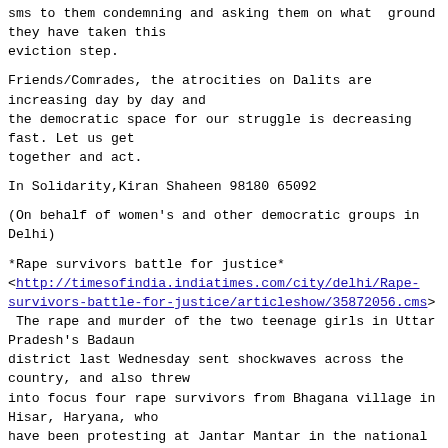sms to them condemning and asking them on what ground they have taken this eviction step.
Friends/Comrades, the atrocities on Dalits are increasing day by day and the democratic space for our struggle is decreasing fast. Let us get together and act.
In Solidarity,Kiran Shaheen 98180 65092
(On behalf of women's and other democratic groups in Delhi)
*Rape survivors battle for justice* <http://timesofindia.indiatimes.com/city/delhi/Rape-survivors-battle-for-justice/articleshow/35872056.cms> The rape and murder of the two teenage girls in Uttar Pradesh's Badaun district last Wednesday sent shockwaves across the country, and also threw into focus four rape survivors from Bhagana village in Hisar, Haryana, who have been protesting at Jantar Mantar in the national capital since April 16. Bhagana is some 170km from New Delhi.
The survivors, aged between 13 and 18 years, belong to the landless Dhanuk